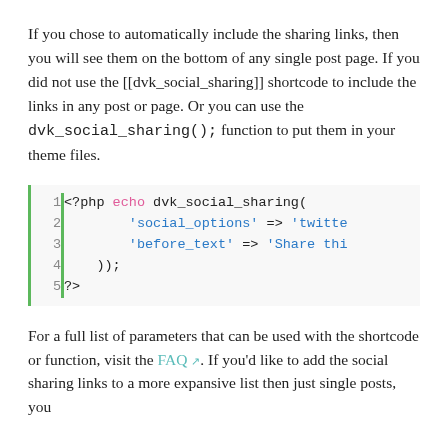If you chose to automatically include the sharing links, then you will see them on the bottom of any single post page. If you did not use the [[dvk_social_sharing]] shortcode to include the links in any post or page. Or you can use the dvk_social_sharing(); function to put them in your theme files.
[Figure (screenshot): PHP code block with line numbers 1-5 and green left border. Code shows: <?php echo dvk_social_sharing( 'social_options' => 'twitte 'before_text' => 'Share thi )); ?>]
For a full list of parameters that can be used with the shortcode or function, visit the FAQ. If you'd like to add the social sharing links to a more expansive list then just single posts, you